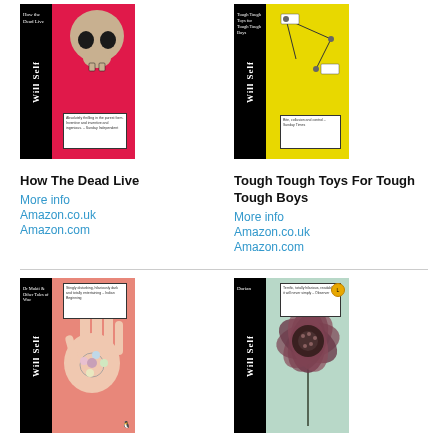[Figure (illustration): Book cover of 'How The Dead Live' by Will Self - black spine with pink/red cover featuring a skull]
How The Dead Live
More info
Amazon.co.uk
Amazon.com
[Figure (illustration): Book cover of 'Tough Tough Toys For Tough Tough Boys' by Will Self - black spine with yellow cover featuring diagrams]
Tough Tough Toys For Tough Tough Boys
More info
Amazon.co.uk
Amazon.com
[Figure (illustration): Book cover of 'Dr Mukti And Other Tales Of Woe' by Will Self - black spine with pink/salmon cover featuring a hand]
Dr Mukti And Other Tales Of Woe
More info
Amazon.co.uk
[Figure (illustration): Book cover of 'Dorian' by Will Self - black spine with mint/teal cover featuring a flower]
Dorian
More info
Amazon.co.uk